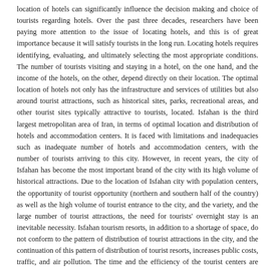location of hotels can significantly influence the decision making and choice of tourists regarding hotels. Over the past three decades, researchers have been paying more attention to the issue of locating hotels, and this is of great importance because it will satisfy tourists in the long run. Locating hotels requires identifying, evaluating, and ultimately selecting the most appropriate conditions. The number of tourists visiting and staying in a hotel, on the one hand, and the income of the hotels, on the other, depend directly on their location. The optimal location of hotels not only has the infrastructure and services of utilities but also around tourist attractions, such as historical sites, parks, recreational areas, and other tourist sites typically attractive to tourists, located. Isfahan is the third largest metropolitan area of Iran, in terms of optimal location and distribution of hotels and accommodation centers. It is faced with limitations and inadequacies such as inadequate number of hotels and accommodation centers, with the number of tourists arriving to this city. However, in recent years, the city of Isfahan has become the most important brand of the city with its high volume of historical attractions. Due to the location of Isfahan city with population centers, the opportunity of tourist opportunity (northern and southern half of the country) as well as the high volume of tourist entrance to the city, and the variety, and the large number of tourist attractions, the need for tourists' overnight stay is an inevitable necessity. Isfahan tourism resorts, in addition to a shortage of space, do not conform to the pattern of distribution of tourist attractions in the city, and the continuation of this pattern of distribution of tourist resorts, increases public costs, traffic, and air pollution. The time and the efficiency of the tourist centers are reduced, which both disturbs the stay of the guests and the lives of the citizens living in the city. In this study, the optimal spaces are identified by using the capabilities of spatial analysis systems and fuzzy logic in order to determine the location of tourist